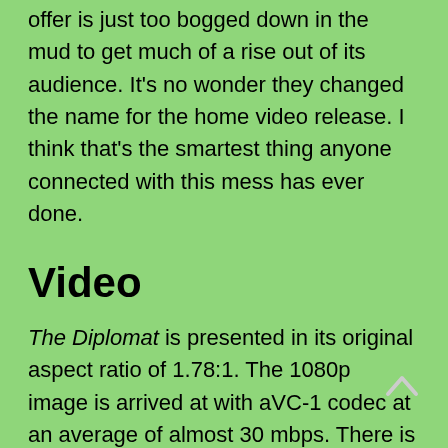offer is just too bogged down in the mud to get much of a rise out of its audience. It's no wonder they changed the name for the home video release. I think that's the smartest thing anyone connected with this mess has ever done.
Video
The Diplomat is presented in its original aspect ratio of 1.78:1. The 1080p image is arrived at with aVC-1 codec at an average of almost 30 mbps. There is a lot of quality in the image presentation. The image often